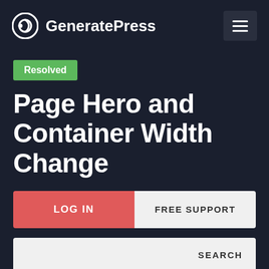GeneratePress
Resolved
Page Hero and Container Width Change
LOG IN
FREE SUPPORT
SEARCH